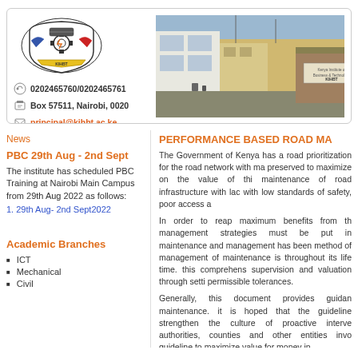[Figure (logo): KIHBT institutional logo/crest with text]
0202465760/0202465761
Box 57511, Nairobi, 0020
principal@kihbt.ac.ke
[Figure (photo): Campus building exterior photo with KIHBT signage]
News
PBC 29th Aug - 2nd Sept
The institute has scheduled PBC Training at Nairobi Main Campus from 29th Aug 2022 as follows:
1. 29th Aug- 2nd Sept2022
Academic Branches
ICT
Mechanical
Civil
PERFORMANCE BASED ROAD MA
The Government of Kenya has a road prioritization for the road network with ma preserved to maximize on the value of thi maintenance of road infrastructure with lac with low standards of safety, poor access a
In order to reap maximum benefits from th management strategies must be put in maintenance and management has been method of management of maintenance is throughout its life time. this comprehens supervision and valuation through setti permissible tolerances.
Generally, this document provides guidan maintenance. it is hoped that the guideline strengthen the culture of proactive interve authorities, counties and other entities invo guideline to maximize value for money in